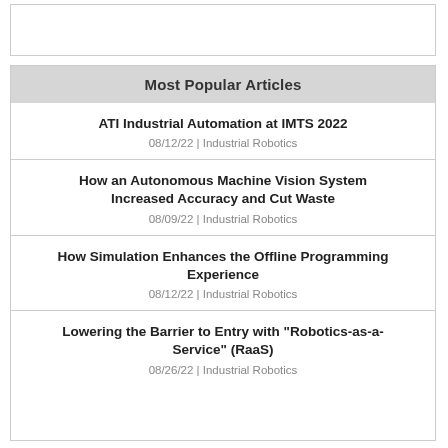Most Popular Articles
ATI Industrial Automation at IMTS 2022
08/12/22 | Industrial Robotics
How an Autonomous Machine Vision System Increased Accuracy and Cut Waste
08/09/22 | Industrial Robotics
How Simulation Enhances the Offline Programming Experience
08/12/22 | Industrial Robotics
Lowering the Barrier to Entry with "Robotics-as-a-Service" (RaaS)
08/26/22 | Industrial Robotics